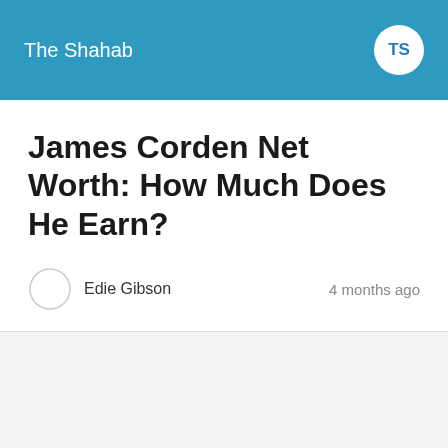The Shahab
James Corden Net Worth: How Much Does He Earn?
Edie Gibson   4 months ago